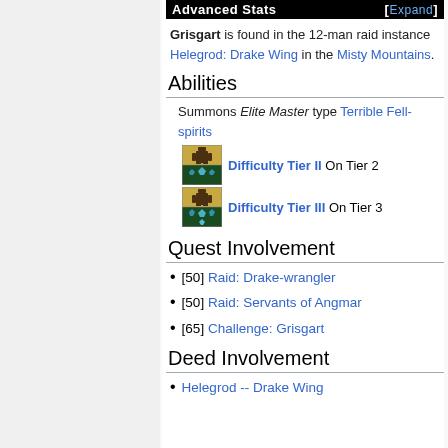Advanced Stats [Expand]
Grisgart is found in the 12-man raid instance Helegrod: Drake Wing in the Misty Mountains.
Abilities
Summons Elite Master type Terrible Fell-spirits
Difficulty Tier II On Tier 2
Difficulty Tier III On Tier 3
Quest Involvement
[50] Raid: Drake-wrangler
[50] Raid: Servants of Angmar
[65] Challenge: Grisgart
Deed Involvement
Helegrod -- Drake Wing